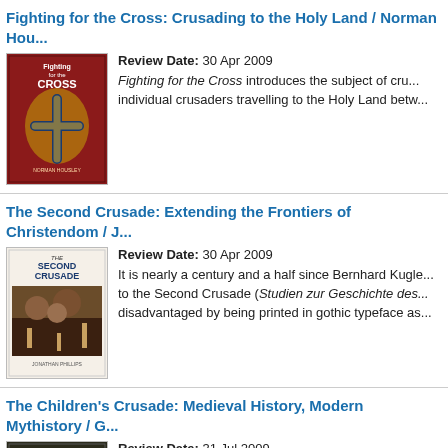Fighting for the Cross: Crusading to the Holy Land / Norman Hou...
Review Date: 30 Apr 2009
Fighting for the Cross introduces the subject of cru... individual crusaders travelling to the Holy Land betw...
The Second Crusade: Extending the Frontiers of Christendom / J...
Review Date: 30 Apr 2009
It is nearly a century and a half since Bernhard Kugle... to the Second Crusade (Studien zur Geschichte des... disadvantaged by being printed in gothic typeface as...
The Children's Crusade: Medieval History, Modern Mythistory / G...
Review Date: 31 Jul 2009
Agatha Christie's 1970 novel Passenger to Frankfurt... of the Children's Crusade in 1212. To capture the rac... her plot, Christie invoked the Children's Crusade as a...